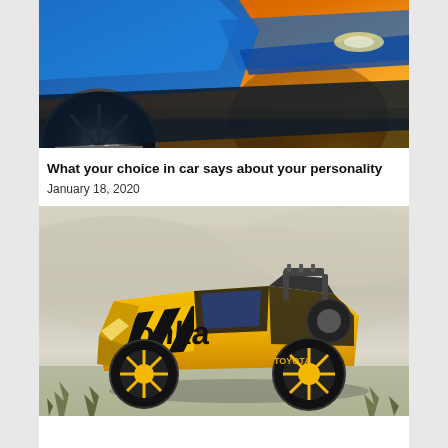[Figure (photo): Blue Mazda CX-5 SUV photographed at sunset with golden/orange sky background, close-up of front wheel and lower body]
What your choice in car says about your personality
January 18, 2020
[Figure (photo): Yellow and black Toyota Tacoma Tonka edition truck driving on white sand dunes, featuring Tonka branding with diagonal black stripes]